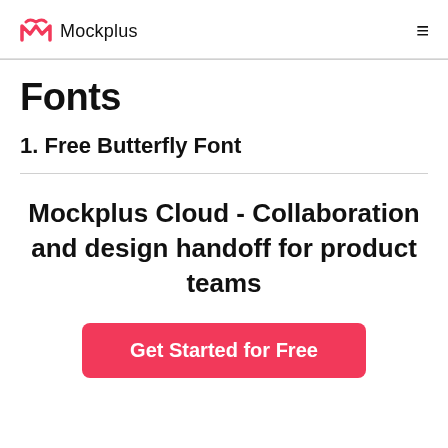Mockplus
Fonts
1. Free Butterfly Font
Mockplus Cloud - Collaboration and design handoff for product teams
Get Started for Free